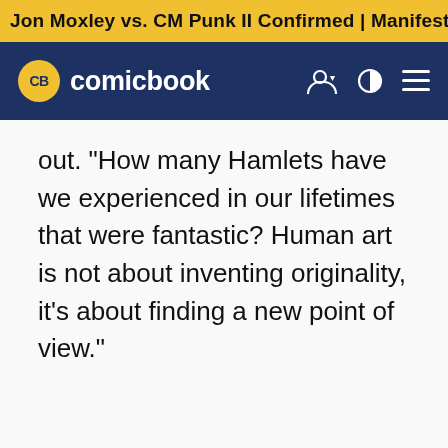Jon Moxley vs. CM Punk II Confirmed | Manifest Season 4 Pr
[Figure (logo): Comicbook.com logo with yellow CB badge circle and white text on dark navy navigation bar]
out. "How many Hamlets have we experienced in our lifetimes that were fantastic? Human art is not about inventing originality, it's about finding a new point of view."